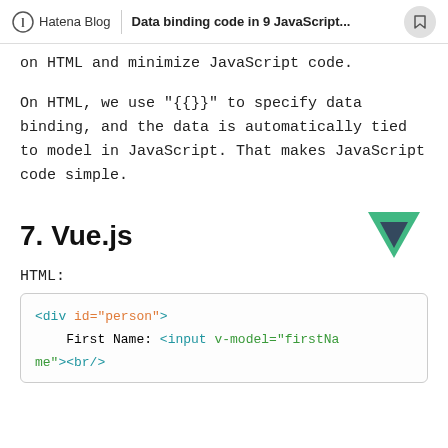Hatena Blog | Data binding code in 9 JavaScript...
on HTML and minimize JavaScript code.
On HTML, we use "{{}}" to specify data binding, and the data is automatically tied to model in JavaScript. That makes JavaScript code simple.
7. Vue.js
[Figure (logo): Vue.js logo — dark navy and green chevron/V shape]
HTML:
<div id="person">
    First Name: <input v-model="firstName"><br/>
me"><br/>